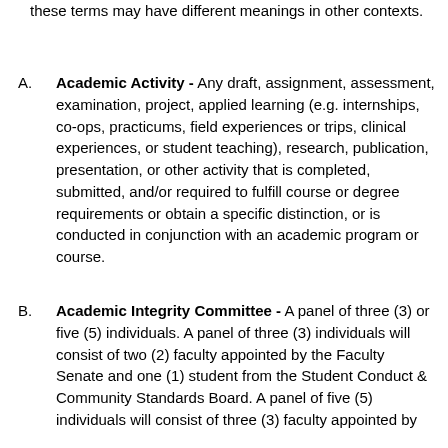these terms may have different meanings in other contexts.
A. Academic Activity - Any draft, assignment, assessment, examination, project, applied learning (e.g. internships, co-ops, practicums, field experiences or trips, clinical experiences, or student teaching), research, publication, presentation, or other activity that is completed, submitted, and/or required to fulfill course or degree requirements or obtain a specific distinction, or is conducted in conjunction with an academic program or course.
B. Academic Integrity Committee - A panel of three (3) or five (5) individuals. A panel of three (3) individuals will consist of two (2) faculty appointed by the Faculty Senate and one (1) student from the Student Conduct & Community Standards Board. A panel of five (5) individuals will consist of three (3) faculty appointed by